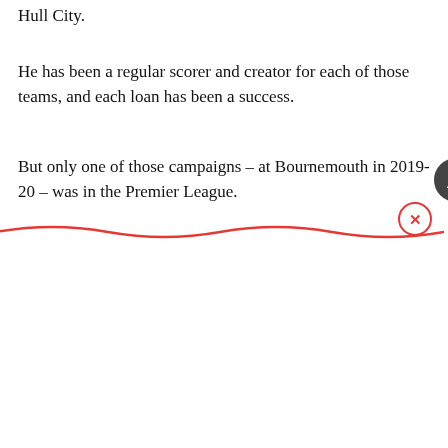Hull City.
He has been a regular scorer and creator for each of those teams, and each loan has been a success.
But only one of those campaigns – at Bournemouth in 2019-20 – was in the Premier League.
[Figure (screenshot): Google Maps ad overlay for Crumbl Cookies - Ashburn, showing a blue banner with 'Crumbl Cookies™' heading, description 'A Crumbl Party Box is the perfect addition to any gathering.', a partial map view with a red location pin near Potomac Green Community Center, Store info and Directions buttons, and a notification bell icon.]